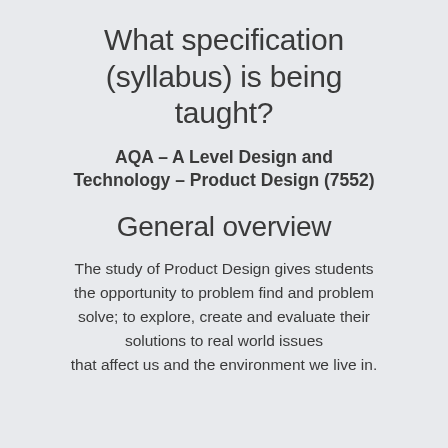What specification (syllabus) is being taught?
AQA – A Level Design and Technology – Product Design (7552)
General overview
The study of Product Design gives students the opportunity to problem find and problem solve; to explore, create and evaluate their solutions to real world issues that affect us and the environment we live in.